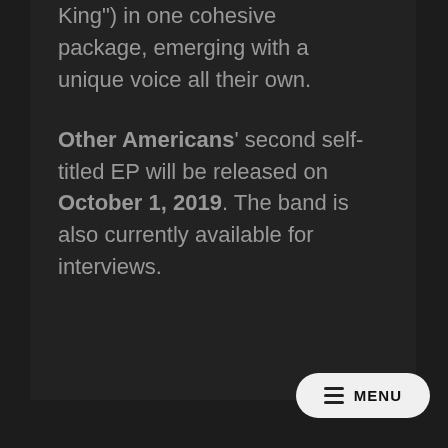King") in one cohesive package, emerging with a unique voice all their own.

Other Americans' second self-titled EP will be released on October 1, 2019. The band is also currently available for interviews.